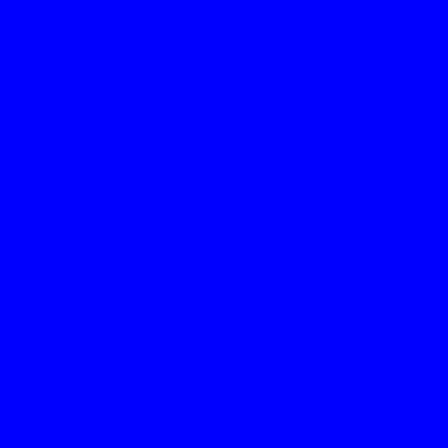6126 6127 6128 6129 6130 6131 6132 6133 6144 6145 6146 6147 6148 6149 6150 6151 6162 6163 6164 6165 6166 6167 6168 6169 6180 6181 6182 6183 6184 6185 6186 6187 6198 6199 6200 6201 6202 6203 6204 6205 6216 6217 6218 6219 6220 6221 6222 6223 6234 6235 6236 6237 6238 6239 6240 6241 6252 6253 6254 6255 6256 6257 6258 6259 6270 6271 6272 6273 6274 6275 6276 6277 6288 6289 6290 6291 6292 6293 6294 6295 6306 6307 6308 6309 6310 6311 6312 6313 6324 6325 6326 6327 6328 6329 6330 6331 6342 6343 6344 6345 6346 6347 6348 6349 6360 6361 6362 6363 6364 6365 6366 6367 6378 6379 6380 6381 6382 6383 6384 6385 6396 6397 6398 6399 6400 6401 6402 6403 6414 6415 6416 6417 6418 6419 6420 6421 6432 6433 6434 6435 6436 6437 6438 6439 6450 6451 6452 6453 6454 6455 6456 6457 6468 6469 6470 6471 6472 6473 6474 6475